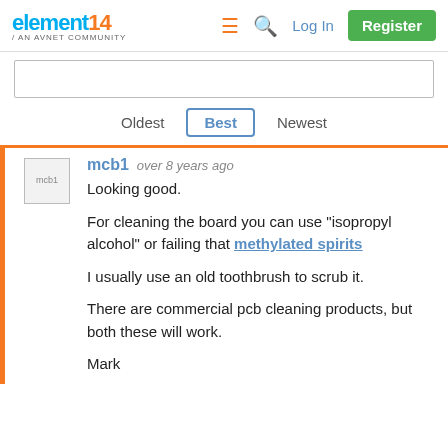element14 / AN AVNET COMMUNITY | Log In | Register
Oldest | Best | Newest
mcb1  over 8 years ago
Looking good.

For cleaning the board you can use "isopropyl alcohol" or failing that methylated spirits

I usually use an old toothbrush to scrub it.

There are commercial pcb cleaning products, but both these will work.

Mark